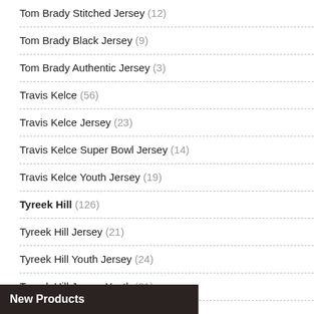Tom Brady Stitched Jersey (12)
Tom Brady Black Jersey (9)
Tom Brady Authentic Jersey (3)
Travis Kelce (56)
Travis Kelce Jersey (23)
Travis Kelce Super Bowl Jersey (14)
Travis Kelce Youth Jersey (19)
Tyreek Hill (126)
Tyreek Hill Jersey (21)
Tyreek Hill Youth Jersey (24)
Tyreek Hill Jersey Youth (21)
Youth Tyreek Hill Jersey (20)
Tyreek Hill Kids Jersey (24)
Kids Tyreek Hill Jersey (16)
New Products